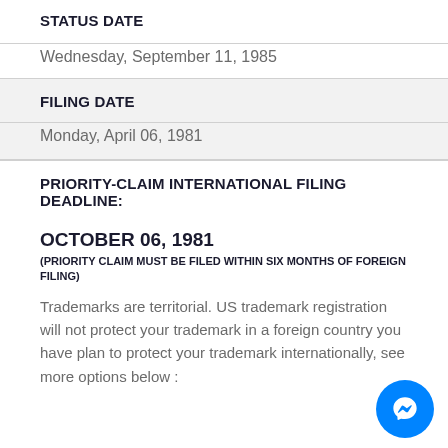STATUS DATE
Wednesday, September 11, 1985
FILING DATE
Monday, April 06, 1981
PRIORITY-CLAIM INTERNATIONAL FILING DEADLINE:
OCTOBER 06, 1981
(PRIORITY CLAIM MUST BE FILED WITHIN SIX MONTHS OF FOREIGN FILING)
Trademarks are territorial. US trademark registration will not protect your trademark in a foreign country you have plan to protect your trademark internationally, see more options below :